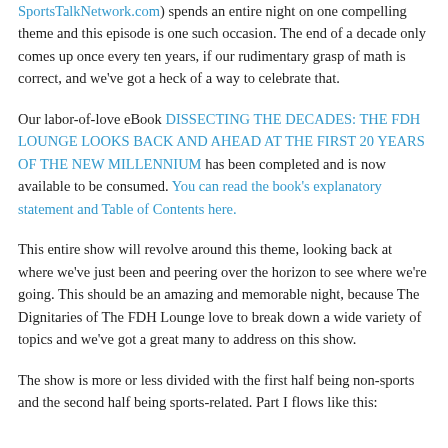SportsTalkNetwork.com) spends an entire night on one compelling theme and this episode is one such occasion. The end of a decade only comes up once every ten years, if our rudimentary grasp of math is correct, and we've got a heck of a way to celebrate that.
Our labor-of-love eBook DISSECTING THE DECADES: THE FDH LOUNGE LOOKS BACK AND AHEAD AT THE FIRST 20 YEARS OF THE NEW MILLENNIUM has been completed and is now available to be consumed. You can read the book's explanatory statement and Table of Contents here.
This entire show will revolve around this theme, looking back at where we've just been and peering over the horizon to see where we're going. This should be an amazing and memorable night, because The Dignitaries of The FDH Lounge love to break down a wide variety of topics and we've got a great many to address on this show.
The show is more or less divided with the first half being non-sports and the second half being sports-related. Part I flows like this: